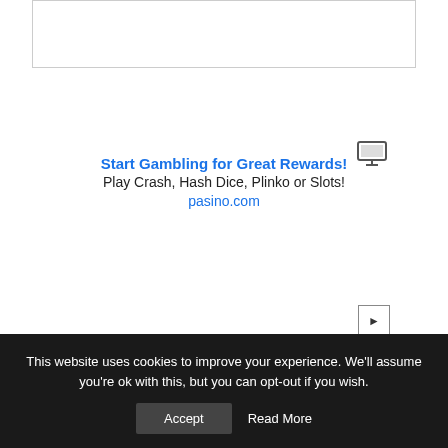[Figure (other): Empty white box with light border at top of page]
[Figure (other): Monitor/screen icon in upper right area]
Start Gambling for Great Rewards!
Play Crash, Hash Dice, Plinko or Slots!
pasino.com
[Figure (other): Play button icon (triangle) in right-center area]
This website uses cookies to improve your experience. We'll assume you're ok with this, but you can opt-out if you wish.
Accept   Read More